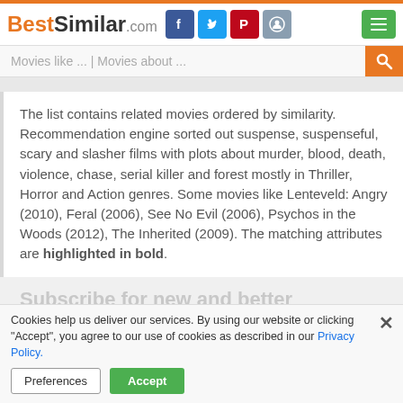BestSimilar.com
Movies like ... | Movies about ...
The list contains related movies ordered by similarity. Recommendation engine sorted out suspense, suspenseful, scary and slasher films with plots about murder, blood, death, violence, chase, serial killer and forest mostly in Thriller, Horror and Action genres. Some movies like Lenteveld: Angry (2010), Feral (2006), See No Evil (2006), Psychos in the Woods (2012), The Inherited (2009). The matching attributes are highlighted in bold.
Subscribe for new and better recommendations:
Cookies help us deliver our services. By using our website or clicking "Accept", you agree to our use of cookies as described in our Privacy Policy.